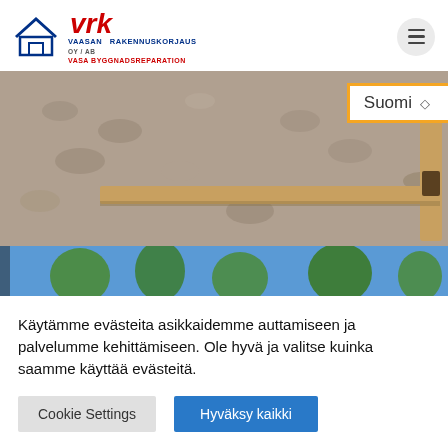[Figure (logo): VRK Vaasan Rakennuskorjaus / Vasa Byggnadsreparation company logo with house icon and red VRK lettering]
[Figure (photo): Construction site photo showing gravel/aggregate with wooden stakes or formwork, with a language selector dropdown showing 'Suomi' and orange border overlay]
[Figure (photo): Partial photo showing trees and blue sky at the bottom, partially obscured by cookie consent banner]
Käytämme evästeita asikkaidemme auttamiseen ja palvelumme kehittämiseen. Ole hyvä ja valitse kuinka saamme käyttää evästeitä.
Cookie Settings
Hyväksy kaikki